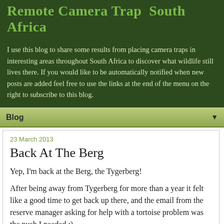Remote Camera Trap  South Africa
I use this blog to share some results from placing camera traps in interesting areas throughout South Africa to discover what wildlife still lives there. If you would like to be automatically notified when new posts are added feel free to use the links at the end of the menu on the right to subscribe to this blog.
Blog
23 March 2013
Back At The Berg
Yep, I'm back at the Berg, the Tygerberg!
After being away from Tygerberg for more than a year it felt like a good time to get back up there, and the email from the reserve manager asking for help with a tortoise problem was the push I needed :)
First up is some Cape Gerbils. I have developed a fondness